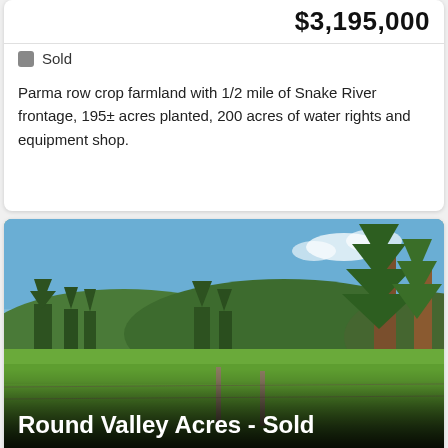$3,195,000
Sold
Parma row crop farmland with 1/2 mile of Snake River frontage, 195± acres planted, 200 acres of water rights and equipment shop.
[Figure (photo): A pastoral landscape with a green meadow in the foreground, a wooden fence post, conifer forest on rolling hills in the background, and blue sky with light clouds. Tall pine trees visible on the right side.]
Round Valley Acres - Sold
Southwest Idaho
$250,000